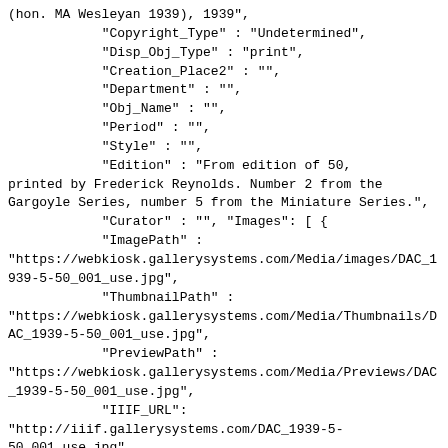(hon. MA Wesleyan 1939), 1939",
            "Copyright_Type" : "Undetermined",
            "Disp_Obj_Type" : "print",
            "Creation_Place2" : "",
            "Department" : "",
            "Obj_Name" : "",
            "Period" : "",
            "Style" : "",
            "Edition" : "From edition of 50,
printed by Frederick Reynolds. Number 2 from the
Gargoyle Series, number 5 from the Miniature Series.",
            "Curator" : "", "Images": [ {
            "ImagePath" :
"https://webkiosk.gallerysystems.com/Media/images/DAC_1
939-5-50_001_use.jpg",
            "ThumbnailPath" :
"https://webkiosk.gallerysystems.com/Media/Thumbnails/D
AC_1939-5-50_001_use.jpg",
            "PreviewPath" :
"https://webkiosk.gallerysystems.com/Media/Previews/DAC
_1939-5-50_001_use.jpg",
            "IIIF_URL":
"http://iiif.gallerysystems.com/DAC_1939-5-
50_001_use.jpg",
            "IsPrimary" : "1",
            "_SurrogateID" : "5741",
            "Image_Type" : "",
            "Photo_Credit" : "",
            "Remarks" : "",
            "View" : "" } . ]